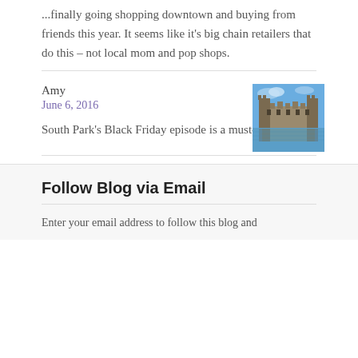...finally going shopping downtown and buying from friends this year. It seems like it's big chain retailers that do this – not local mom and pop shops.
Amy
June 6, 2016
South Park's Black Friday episode is a must-watch!!
[Figure (photo): Photo of a castle reflected in water under a blue sky]
Follow Blog via Email
Enter your email address to follow this blog and